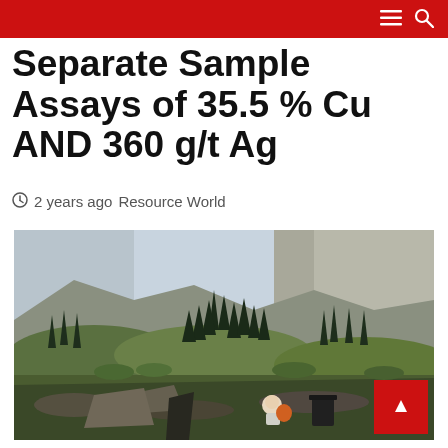Separate Sample Assays of 35.5 % Cu AND 360 g/t Ag
2 years ago  Resource World
[Figure (photo): Mountainous landscape with evergreen trees, rocky terrain, and two people seated near rocky outcrop with misty peaks in background]